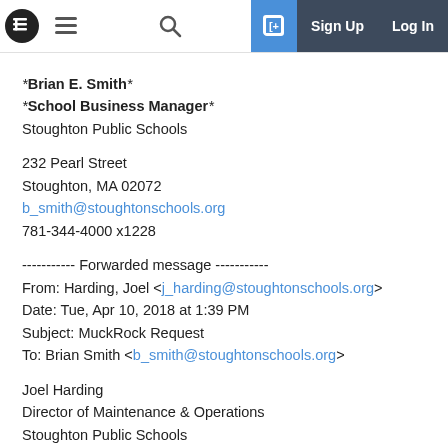MuckRock navigation bar with logo, hamburger menu, search, sign up, and log in
*Brian E. Smith*
*School Business Manager*
Stoughton Public Schools
232 Pearl Street
Stoughton, MA 02072
b_smith@stoughtonschools.org
781-344-4000 x1228
----------- Forwarded message -----------
From: Harding, Joel <j_harding@stoughtonschools.org>
Date: Tue, Apr 10, 2018 at 1:39 PM
Subject: MuckRock Request
To: Brian Smith <b_smith@stoughtonschools.org>
Joel Harding
Director of Maintenance & Operations
Stoughton Public Schools